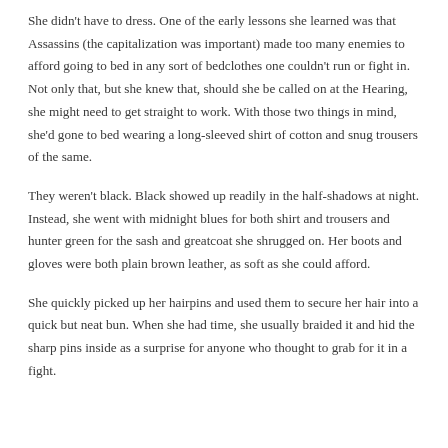She didn't have to dress. One of the early lessons she learned was that Assassins (the capitalization was important) made too many enemies to afford going to bed in any sort of bedclothes one couldn't run or fight in. Not only that, but she knew that, should she be called on at the Hearing, she might need to get straight to work. With those two things in mind, she'd gone to bed wearing a long-sleeved shirt of cotton and snug trousers of the same.
They weren't black. Black showed up readily in the half-shadows at night. Instead, she went with midnight blues for both shirt and trousers and hunter green for the sash and greatcoat she shrugged on. Her boots and gloves were both plain brown leather, as soft as she could afford.
She quickly picked up her hairpins and used them to secure her hair into a quick but neat bun. When she had time, she usually braided it and hid the sharp pins inside as a surprise for anyone who thought to grab for it in a fight.